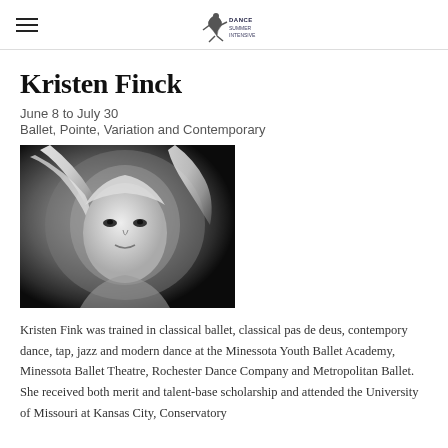[Navigation logo and hamburger menu]
Kristen Finck
June 8 to July 30
Ballet, Pointe, Variation and Contemporary
[Figure (photo): Black and white portrait photo of Kristen Finck, a blonde woman with flowing hair, looking directly at camera]
Kristen Fink was trained in classical ballet, classical pas de deus, contempory dance, tap, jazz and modern dance at the Minessota Youth Ballet Academy, Minessota Ballet Theatre, Rochester Dance Company and Metropolitan Ballet.
She received both merit and talent-base scholarship and attended the University of Missouri at Kansas City, Conservatory